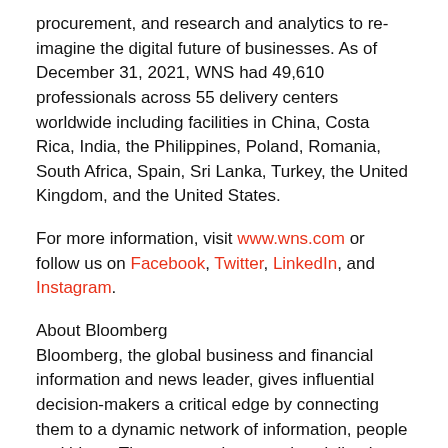procurement, and research and analytics to re-imagine the digital future of businesses. As of December 31, 2021, WNS had 49,610 professionals across 55 delivery centers worldwide including facilities in China, Costa Rica, India, the Philippines, Poland, Romania, South Africa, Spain, Sri Lanka, Turkey, the United Kingdom, and the United States.
For more information, visit www.wns.com or follow us on Facebook, Twitter, LinkedIn, and Instagram.
About Bloomberg
Bloomberg, the global business and financial information and news leader, gives influential decision-makers a critical edge by connecting them to a dynamic network of information, people and ideas. The company's strength – delivering data, news and analytics through innovative technology, quickly and accurately – is the core of Bloomberg Professional Services. For more information, visit www.bloomberg.com or request a demo.